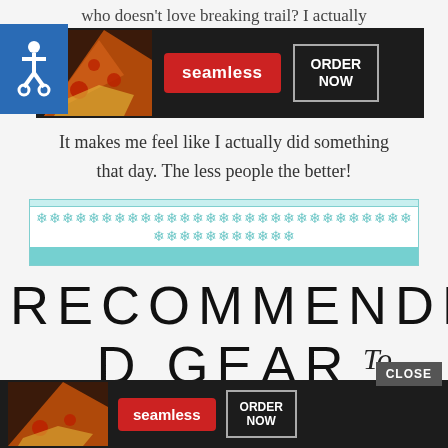who doesn't love breaking trail? I actually
[Figure (screenshot): Seamless food delivery advertisement banner with pizza slices and ORDER NOW button on dark background]
It makes me feel like I actually did something that day. The less people the better!
[Figure (illustration): Decorative snowflake border divider with teal/cyan snowflakes on white background with teal borders]
RECOMMENDED GEAR
[Figure (screenshot): Cursive 'To' text with a CLOSE button overlay and a second Seamless food delivery advertisement banner at the bottom]